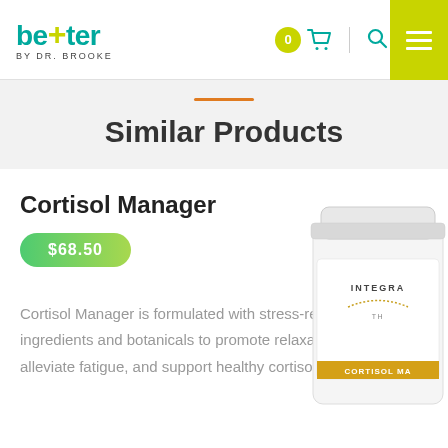Better by Dr. Brooke — navigation header with cart (0), search, and menu
Similar Products
Cortisol Manager
$68.50
Cortisol Manager is formulated with stress-reducing ingredients and botanicals to promote relaxation, help alleviate fatigue, and support healthy cortisol
[Figure (photo): White supplement bottle labeled INTEGRA... CORTISOL MA... (Cortisol Manager by Integrative Therapeutics), partially visible on right side]